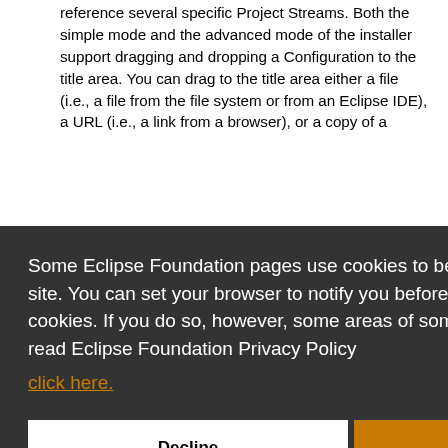reference several specific Project Streams. Both the simple mode and the advanced mode of the installer support dragging and dropping a Configuration to the title area. You can drag to the title area either a file (i.e., a file from the file system or from an Eclipse IDE), a URL (i.e., a link from a browser), or a copy of a
Some Eclipse Foundation pages use cookies to better serve you when you return to the site. You can set your browser to notify you before you receive a cookie or turn off cookies. If you do so, however, some areas of some sites may not function properly. To read Eclipse Foundation Privacy Policy click here.
Decline
Allow cookies
dragging a file, link, or XML serialization, you can copy